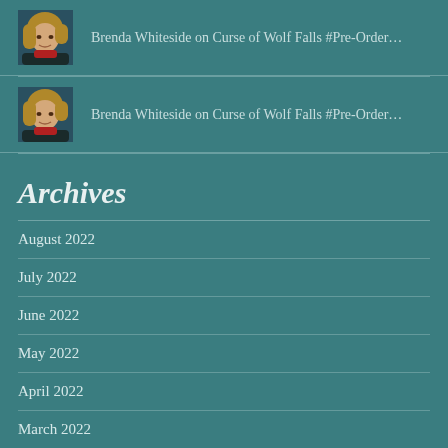Brenda Whiteside on Curse of Wolf Falls #Pre-Order...
Brenda Whiteside on Curse of Wolf Falls #Pre-Order...
Archives
August 2022
July 2022
June 2022
May 2022
April 2022
March 2022
February 2022